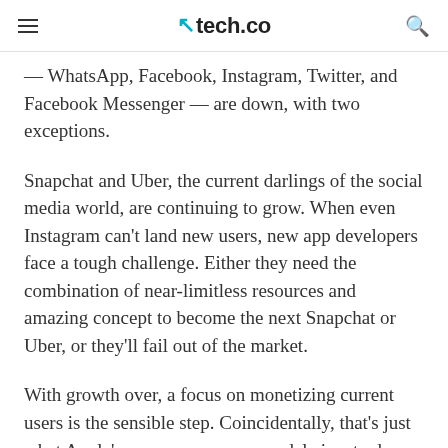≡  tech.co  🔍
— WhatsApp, Facebook, Instagram, Twitter, and Facebook Messenger — are down, with two exceptions.
Snapchat and Uber, the current darlings of the social media world, are continuing to grow. When even Instagram can't land new users, new app developers face a tough challenge. Either they need the combination of near-limitless resources and amazing concept to become the next Snapchat or Uber, or they'll fail out of the market.
With growth over, a focus on monetizing current users is the sensible step. Coincidentally, that's just what Apple's new app revenue model aims to do. Another update to be announced next week: Apple's app store will